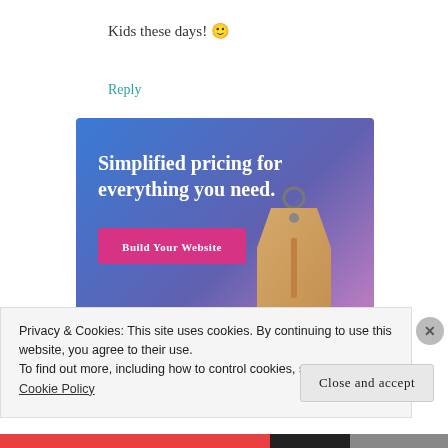Kids these days! 😊
Reply
[Figure (advertisement): Ad banner with gradient blue-purple background, white bold text reading 'Simplified pricing for everything you need.', a pink 'Build Your Website' button, and a 3D price tag image on the right.]
Privacy & Cookies: This site uses cookies. By continuing to use this website, you agree to their use.
To find out more, including how to control cookies, see here: Cookie Policy
Close and accept